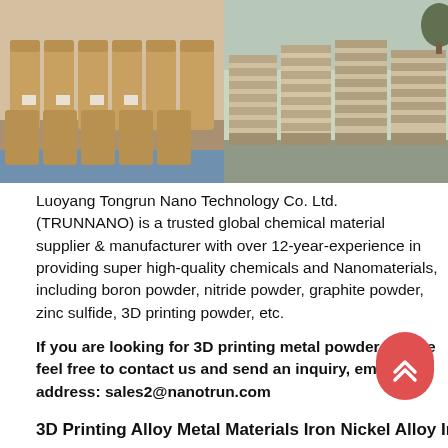[Figure (photo): Two warehouse photos side by side: left shows brown drums/barrels stacked in a warehouse, right shows pallets of packaged materials stacked outdoors.]
Luoyang Tongrun Nano Technology Co. Ltd. (TRUNNANO) is a trusted global chemical material supplier & manufacturer with over 12-year-experience in providing super high-quality chemicals and Nanomaterials, including boron powder, nitride powder, graphite powder, zinc sulfide, 3D printing powder, etc.
If you are looking for 3D printing metal powder, please feel free to contact us and send an inquiry, email address: sales2@nanotrun.com
3D Printing Alloy Metal Materials Iron Nickel Alloy InVar